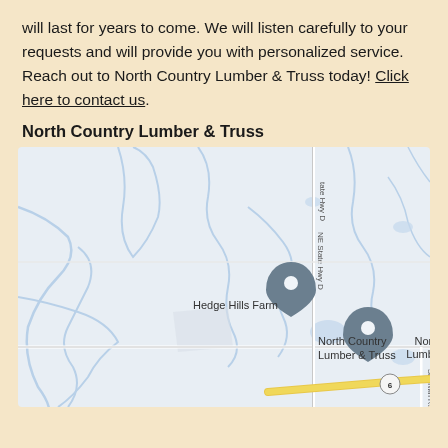will last for years to come. We will listen carefully to your requests and will provide you with personalized service. Reach out to North Country Lumber & Truss today! Click here to contact us.
North Country Lumber & Truss
[Figure (map): Google Maps view showing the location of North Country Lumber & Truss near Hedge Hills Farm, with NE State Hwy D and State Hwy D visible as roads, and a highway (route 6) at the bottom. Two map pins mark Hedge Hills Farm and North Country Lumber & Truss locations.]